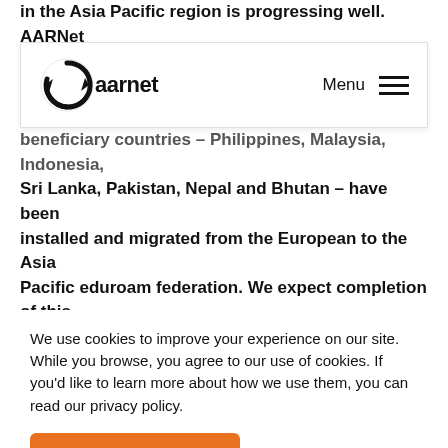in the Asia Pacific region is progressing well. AARNet recently conducted a workshop in Sri Lanka with LANKA,
[Figure (screenshot): AARNet website navigation bar with logo and hamburger menu]
beneficiary countries – Philippines, Malaysia, Indonesia, Sri Lanka, Pakistan, Nepal and Bhutan – have been installed and migrated from the European to the Asia Pacific eduroam federation. We expect completion of this project in June, with final reports completed by end of
We use cookies to improve your experience on our site. While you browse, you agree to our use of cookies. If you'd like to learn more about how we use them, you can read our privacy policy.
Yes, I accept